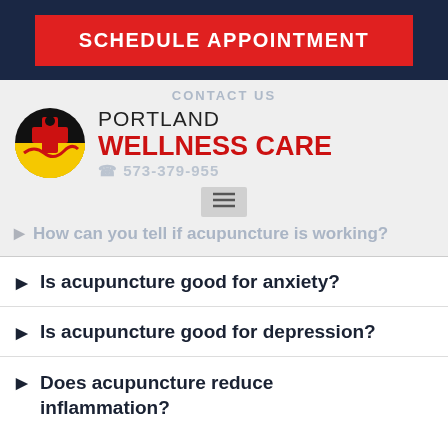SCHEDULE APPOINTMENT
[Figure (logo): Portland Wellness Care logo: circular badge with black background, yellow lower half, red medical cross, black silhouette figure, red swoosh]
PORTLAND WELLNESS CARE
CONTACT US
How can you tell if acupuncture is working?
Is acupuncture good for anxiety?
Is acupuncture good for depression?
Does acupuncture reduce inflammation?